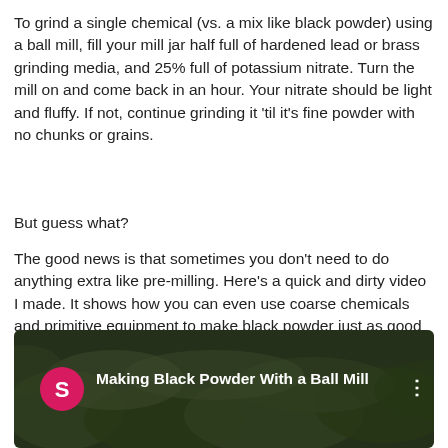To grind a single chemical (vs. a mix like black powder) using a ball mill, fill your mill jar half full of hardened lead or brass grinding media, and 25% full of potassium nitrate. Turn the mill on and come back in an hour. Your nitrate should be light and fluffy. If not, continue grinding it 'til it's fine powder with no chunks or grains.
But guess what?
The good news is that sometimes you don't need to do anything extra like pre-milling. Here's a quick and dirty video I made. It shows how you can even use coarse chemicals and primitive equipment to make black powder just as good as any commercially made BP.
[Figure (screenshot): Video thumbnail showing a forested outdoor scene with a pink circular channel icon displaying the letter 'S', and the video title 'Making Black Powder With a Ball Mill' in white text, with a vertical three-dot menu icon on the right.]